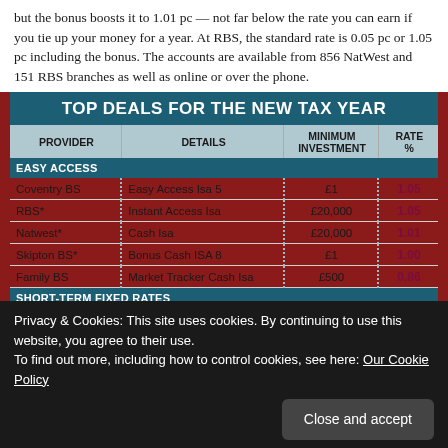but the bonus boosts it to 1.01 pc — not far below the rate you can earn if you tie up your money for a year. At RBS, the standard rate is 0.05 pc or 1.05 pc including the bonus. The accounts are available from 856 NatWest and 151 RBS branches as well as online or over the phone.
| PROVIDER | DETAILS | MINIMUM INVESTMENT | RATE % |
| --- | --- | --- | --- |
| EASY ACCESS |  |  |  |
| Coventry BS | Easy Access Isa 5 | £1 | 1.05 |
| RBS* | Instant Access Isa | £20,000 | 1.05 |
| Natwest* | Cash Isa | £20,000 | 1.01 |
| Skipton BS* | Bonus Cash ISA 8 | £1 | 1.00 |
| Family BS | Market Tracker Cash Isa | £500 | 0.86 |
| SHORT-TERM FIXED RATES |  |  |  |
| Yorkshire BS | Fixed to April 30 2018 | £100 | 1.10 |
| Leeds BS | Fixed to April 30 2018 | £100 | 1.01 |
Privacy & Cookies: This site uses cookies. By continuing to use this website, you agree to their use. To find out more, including how to control cookies, see here: Our Cookie Policy